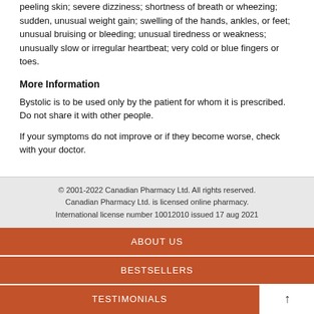peeling skin; severe dizziness; shortness of breath or wheezing; sudden, unusual weight gain; swelling of the hands, ankles, or feet; unusual bruising or bleeding; unusual tiredness or weakness; unusually slow or irregular heartbeat; very cold or blue fingers or toes.
More Information
Bystolic is to be used only by the patient for whom it is prescribed. Do not share it with other people.
If your symptoms do not improve or if they become worse, check with your doctor.
© 2001-2022 Canadian Pharmacy Ltd. All rights reserved. Canadian Pharmacy Ltd. is licensed online pharmacy. International license number 10012010 issued 17 aug 2021
ABOUT US
BESTSELLERS
TESTIMONIALS
FAQ